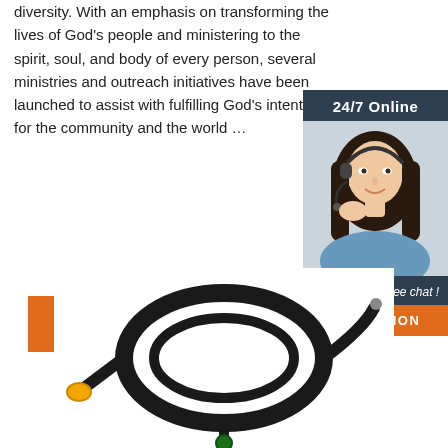diversity. With an emphasis on transforming the lives of God's people and ministering to the spirit, soul, and body of every person, several ministries and outreach initiatives have been launched to assist with fulfilling God's intentions for the community and the world …
[Figure (other): Online chat widget with '24/7 Online' header, photo of smiling woman with headset, 'Click here for free chat!' text, and orange QUOTATION button]
Get Price
[Figure (photo): Black coiled cable with connectors on both ends, on white background]